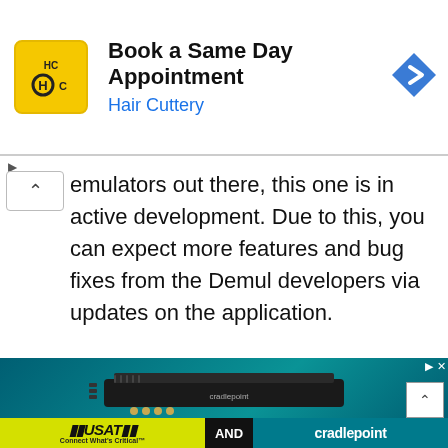[Figure (infographic): Hair Cuttery advertisement banner: yellow square logo with HC text, headline 'Book a Same Day Appointment', subtext 'Hair Cuttery' in blue, and a blue diamond navigation arrow icon on the right.]
emulators out there, this one is in active development. Due to this, you can expect more features and bug fixes from the Demul developers via updates on the application.
[Figure (infographic): Cradlepoint router advertisement: photo of a black Cradlepoint networking router/modem device on a teal geometric background. Bottom bar shows USAT logo on yellow background, AND in black box, and Cradlepoint logo on teal.]